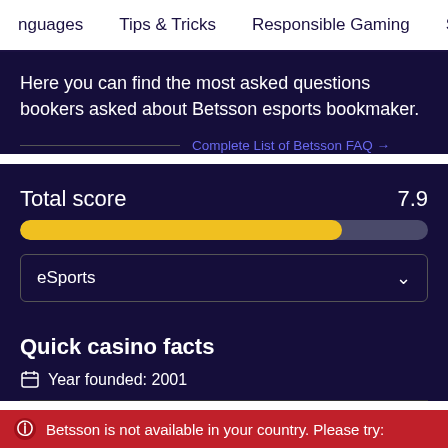nguages   Tips & Tricks   Responsible Gaming   Sup
Here you can find the most asked questions bookers asked about Betsson esports bookmaker.
Complete List of Betsson FAQ →
Total score   7.9
[Figure (infographic): Progress bar showing total score of 7.9 out of 10. Yellow fill covering approximately 79% of a gray bar.]
eSports
Quick casino facts
Year founded: 2001
Betsson is not available in your country. Please try: